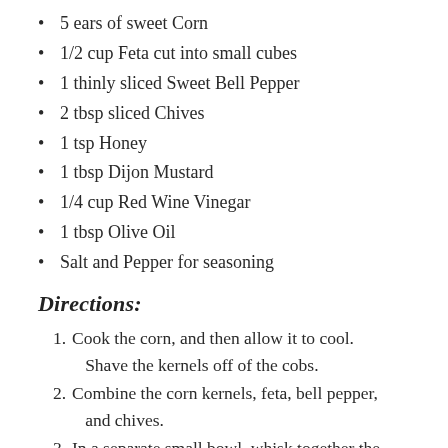5 ears of sweet Corn
1/2 cup Feta cut into small cubes
1 thinly sliced Sweet Bell Pepper
2 tbsp sliced Chives
1 tsp Honey
1 tbsp Dijon Mustard
1/4 cup Red Wine Vinegar
1 tbsp Olive Oil
Salt and Pepper for seasoning
Directions:
Cook the corn, and then allow it to cool. Shave the kernels off of the cobs.
Combine the corn kernels, feta, bell pepper, and chives.
In a separate small bowl, whisk together the...